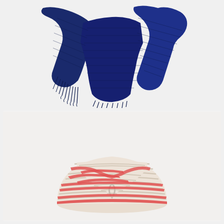[Figure (photo): A navy blue woven scarf with fringe ends, draped loosely against a light grey background. The scarf has a textured weave with subtle stripe patterns and loose fringe at the bottom.]
[Figure (photo): A woven basket with a pointed lid and loop handle, made of coiled grass or similar natural material. The basket is cream/off-white with bold coral/red diagonal stripe patterns. It has a distinctive tall conical pointed top with a small loop handle.]